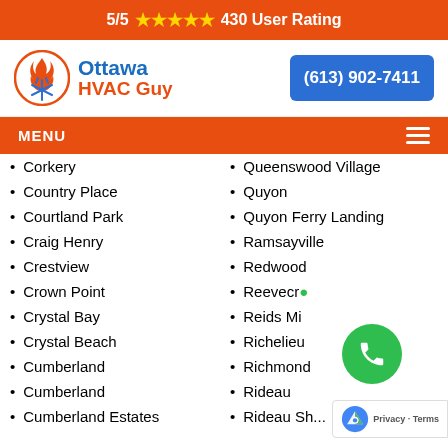5/5 ★★★★★ 430 User Rating
[Figure (logo): Ottawa HVAC Guy logo with circular flame/snowflake icon, company name in blue and orange]
(613) 902-7411
MENU
Corkery
Country Place
Courtland Park
Craig Henry
Crestview
Crown Point
Crystal Bay
Crystal Beach
Cumberland
Cumberland
Cumberland Estates
Queenswood Village
Quyon
Quyon Ferry Landing
Ramsayville
Redwood
Reevecra...
Reids Mi...
Richelieu
Richmond
Rideau
Rideau Shores (partial)